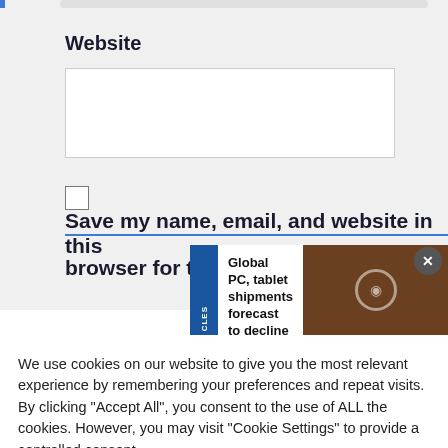Website
[Figure (screenshot): Empty website URL text input field]
[Figure (screenshot): Checkbox (unchecked)]
Save my name, email, and website in this browser for t…
[Figure (screenshot): Notification overlay: 'Global PC, tablet shipments forecast to decline 12.8 per cent' with close button and image thumbnail with CLES tab]
We use cookies on our website to give you the most relevant experience by remembering your preferences and repeat visits. By clicking "Accept All", you consent to the use of ALL the cookies. However, you may visit "Cookie Settings" to provide a controlled consent.
[Figure (screenshot): Cookie Settings button (grey) and Accept All button (green)]